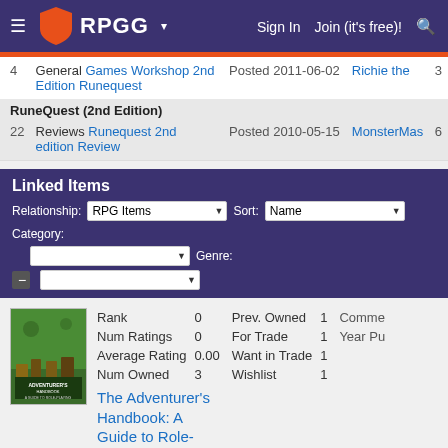RPGG — Sign In  Join (it's free)!
| # | Type | Title | Posted | Date | User | Count |
| --- | --- | --- | --- | --- | --- | --- |
| 4 | General | Games Workshop 2nd Edition Runequest | Posted | 2011-06-02 | Richie the | 3 |
|  | RuneQuest (2nd Edition) |  |  |  |  |  |
| 22 | Reviews | Runequest 2nd edition Review | Posted | 2010-05-15 | MonsterMas | 6 |
Linked Items
Relationship: RPG Items  Sort: Name  Category:  Genre:
[Figure (photo): Book cover for The Adventurer's Handbook: A Guide to Role-Playing Games]
| Stat | Value | Stat | Value | Stat |
| --- | --- | --- | --- | --- |
| Rank | 0 | Prev. Owned | 1 | Comme |
| Num Ratings | 0 | For Trade | 1 | Year Pu |
| Average Rating | 0.00 | Want in Trade | 1 |  |
| Num Owned | 3 | Wishlist | 1 |  |
The Adventurer's Handbook: A Guide to Role-Playing Games
Books about Roleplaying